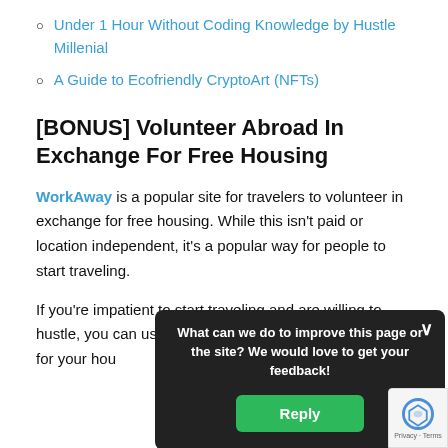Under 1 Hour Without Coding Knowledge by Hustle Millenial
A Guide to Ecofriendly CryptoArt (NFTs)
[BONUS] Volunteer Abroad In Exchange For Free Housing
WorkAway is a popular site for travelers to volunteer in exchange for free housing. While this isn't paid or location independent, it's a popular way for people to start traveling.
If you're impatient to start traveling and are willing to hustle, you can use a volunteer abroad program to pay for your housing. On top of that, if you're in a service field. On... yourself... on Out